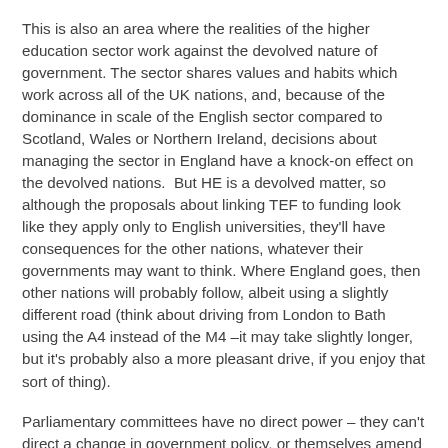This is also an area where the realities of the higher education sector work against the devolved nature of government. The sector shares values and habits which work across all of the UK nations, and, because of the dominance in scale of the English sector compared to Scotland, Wales or Northern Ireland, decisions about managing the sector in England have a knock-on effect on the devolved nations.  But HE is a devolved matter, so although the proposals about linking TEF to funding look like they apply only to English universities, they'll have consequences for the other nations, whatever their governments may want to think. Where England goes, then other nations will probably follow, albeit using a slightly different road (think about driving from London to Bath using the A4 instead of the M4 –it may take slightly longer, but it's probably also a more pleasant drive, if you enjoy that sort of thing).
Parliamentary committees have no direct power – they can't direct a change in government policy, or themselves amend a bill – but they are part of the mechanism that helps draft and improve proposed legislation. So the inquiry is timely.